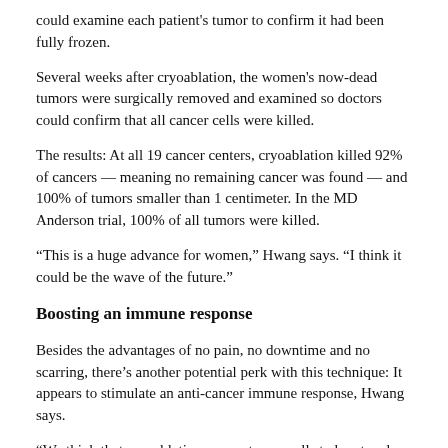could examine each patient's tumor to confirm it had been fully frozen.
Several weeks after cryoablation, the women's now-dead tumors were surgically removed and examined so doctors could confirm that all cancer cells were killed.
The results: At all 19 cancer centers, cryoablation killed 92% of cancers — meaning no remaining cancer was found — and 100% of tumors smaller than 1 centimeter. In the MD Anderson trial, 100% of all tumors were killed.
“This is a huge advance for women,” Hwang says. “I think it could be the wave of the future.”
Boosting an immune response
Besides the advantages of no pain, no downtime and no scarring, there’s another potential perk with this technique: It appears to stimulate an anti-cancer immune response, Hwang says.
“We think that cryoablation causes tumor cells to burst and release their cancer genetic material into the body,” Hwang explains. “The patient’s immune system ramps up to attack this flood of cancer.”
Immune cells, researchers believe, will attack the primary cancer, as